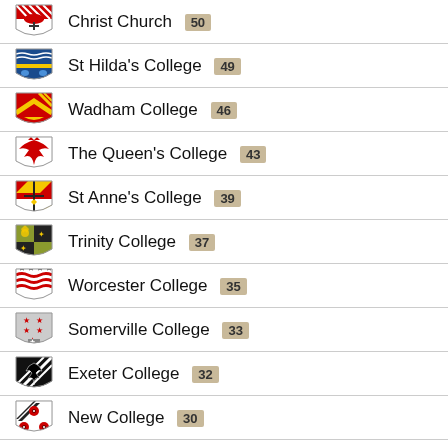Christ Church 50
St Hilda's College 49
Wadham College 46
The Queen's College 43
St Anne's College 39
Trinity College 37
Worcester College 35
Somerville College 33
Exeter College 32
New College 30